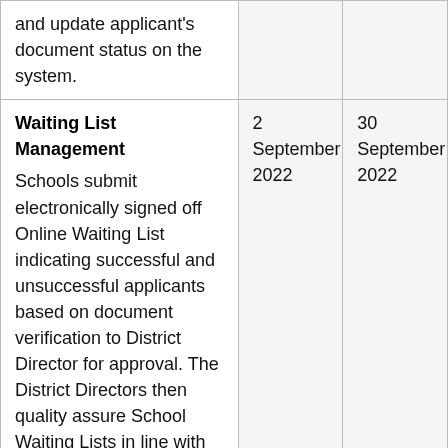| Activity | Start Date | End Date |
| --- | --- | --- |
| and update applicant's document status on the system. |  |  |
| Waiting List Management
Schools submit electronically signed off Online Waiting List indicating successful and unsuccessful applicants based on document verification to District Director for approval. The District Directors then quality assure School Waiting Lists in line with admissions criteria and | 2 September 2022 | 30 September 2022 |